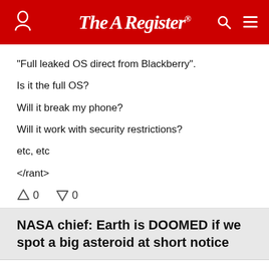The Register
"Full leaked OS direct from Blackberry".

Is it the full OS?

Will it break my phone?

Will it work with security restrictions?

etc, etc

</rant>
↑0  ↓0
NASA chief: Earth is DOOMED if we spot a big asteroid at short notice
Thursday 21st March 2013 12:57 GMT
Jim McCafferty
Report abuse